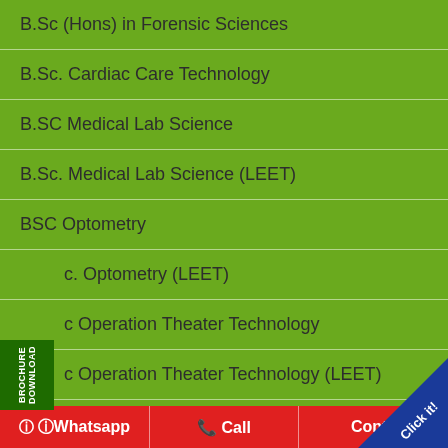B.Sc (Hons) in Forensic Sciences
B.Sc. Cardiac Care Technology
B.SC Medical Lab Science
B.Sc. Medical Lab Science (LEET)
BSC Optometry
B.Sc. Optometry (LEET)
B.Sc Operation Theater Technology
B.Sc Operation Theater Technology (LEET)
B.SC Radio Medical Imaging Technology (LEET)
Whatsapp   Call   Contact